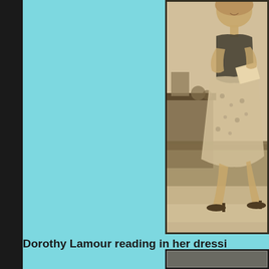[Figure (photo): Black and white vintage photograph of Dorothy Lamour in a floral dress, sitting and reading/holding a book, with bedroom furniture visible in the background including a bed and dresser. She is smiling and wearing heeled sandals.]
Dorothy Lamour reading in her dressi
[Figure (photo): Partial view of another black and white photograph, partially visible at the bottom of the page.]